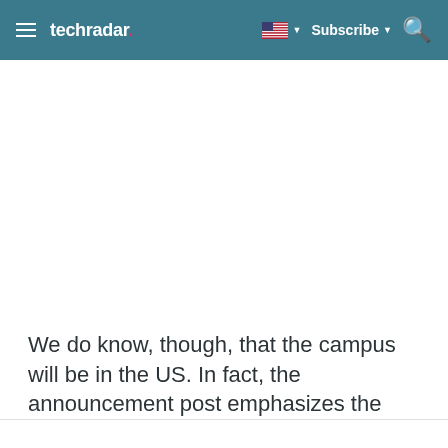techradar
We do know, though, that the campus will be in the US. In fact, the announcement post emphasizes the economic benefits of this and Apple's future plans.